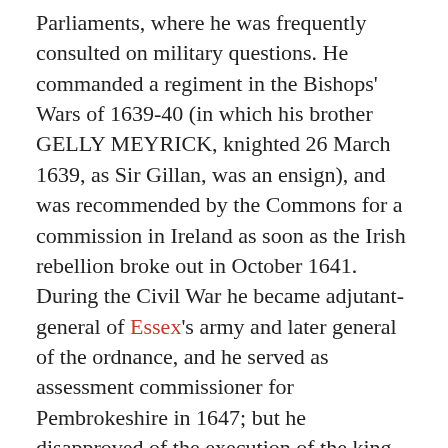Parliaments, where he was frequently consulted on military questions. He commanded a regiment in the Bishops' Wars of 1639-40 (in which his brother GELLY MEYRICK, knighted 26 March 1639, as Sir Gillan, was an ensign), and was recommended by the Commons for a commission in Ireland as soon as the Irish rebellion broke out in October 1641. During the Civil War he became adjutant-general of Essex's army and later general of the ordnance, and he served as assessment commissioner for Pembrokeshire in 1647; but he disapproved of the execution of the king and went into retirement during the Interregnum, dying in 1659. His portrait, formerly at Bush (the home of his descendants till 1837), is now at the family seat of Slebech. Two of his grandsons held legal office in North Wales : JOHN MEYRICK of Bush (born 1674), educated at Jesus College, Oxford, and the Middle Temple, who, after representing Pembroke (1702-8) and Cardigan (1710-2) in Parliament, became puisne